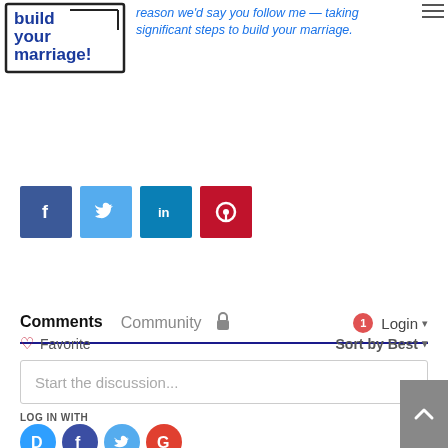[Figure (logo): Build your marriage! logo with handwritten text inside a hand-drawn box]
reason we'd say you follow me — taking significant steps to build your marriage.
[Figure (infographic): Four social share buttons: Facebook (dark blue), Twitter (light blue), LinkedIn (teal), Pinterest (red)]
Comments
Community  🔒   1  Login ▾
♡ Favorite   Sort by Best ▾
Start the discussion...
LOG IN WITH
[Figure (infographic): Social login icons: Disqus (blue D), Facebook (dark blue f), Twitter (light blue bird), Google (red G)]